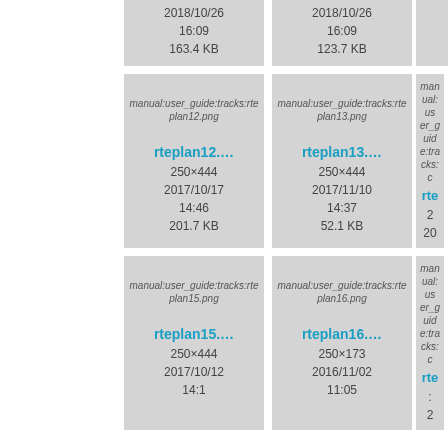[Figure (screenshot): File browser grid showing image file thumbnails with metadata. Top row: two partially visible cards showing dates 2018/10/26 16:09, sizes 163.4 KB and 123.7 KB. Second row: rteplan12.png (250×444, 2017/10/17 14:46, 201.7 KB), rteplan13.png (250×444, 2017/11/10 14:37, 52.1 KB), partial third card. Third row: rteplan15.png (250×444, 2017/10/12 14:10+), rteplan16.png (250×173, 2016/11/02 11:05+), partial third card.]